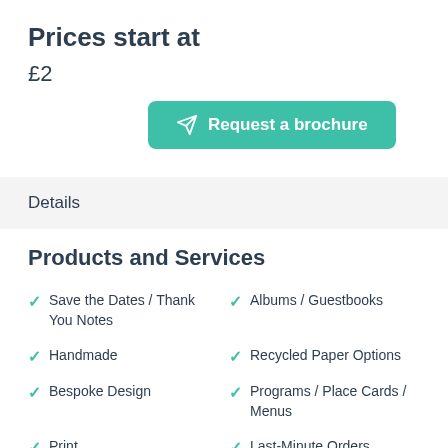Prices start at
£2
[Figure (other): Request a brochure button with paper plane icon, teal background]
Details
Products and Services
Save the Dates / Thank You Notes
Albums / Guestbooks
Handmade
Recycled Paper Options
Bespoke Design
Programs / Place Cards / Menus
Print
Last-Minute Orders
Table Plan
Wedding Invitations